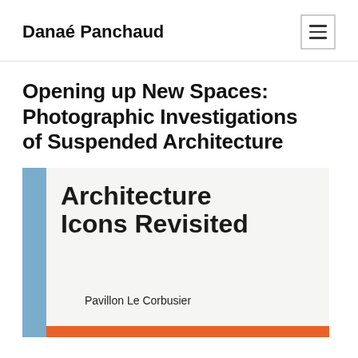Danaé Panchaud
Opening up New Spaces: Photographic Investigations of Suspended Architecture
[Figure (photo): Book cover of 'Architecture Icons Revisited' with a blue spine on the left, white/light gray background, bold black title text, subtitle 'Pavillon Le Corbusier', and an orange bar at the bottom.]